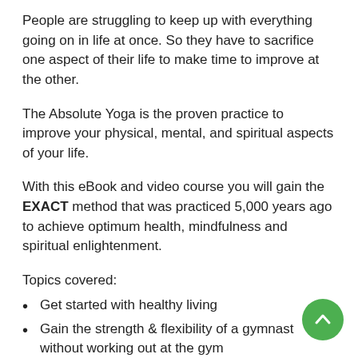People are struggling to keep up with everything going on in life at once. So they have to sacrifice one aspect of their life to make time to improve at the other.
The Absolute Yoga is the proven practice to improve your physical, mental, and spiritual aspects of your life.
With this eBook and video course you will gain the EXACT method that was practiced 5,000 years ago to achieve optimum health, mindfulness and spiritual enlightenment.
Topics covered:
Get started with healthy living
Gain the strength & flexibility of a gymnast without working out at the gym
Get the benefit of exercising & meditating at the same time.
Perfect your body posture so you will look good